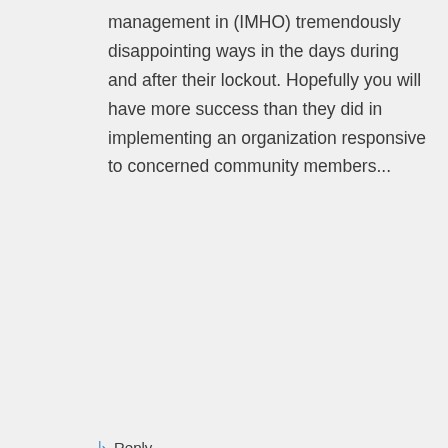management in (IMHO) tremendously disappointing ways in the days during and after their lockout. Hopefully you will have more success than they did in implementing an organization responsive to concerned community members...
↳ Reply
John Kim Munholland on September 13, 2015 at 8:17 pm
I have no interest about the infighting of either organization's internal rivalries or disputes. I am an outsider who only looks at what has